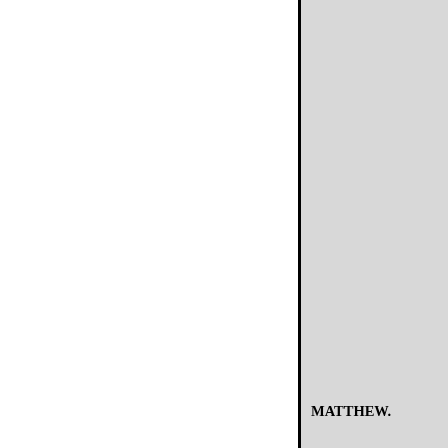32 But they un- 45 But the derstood not that derstood not that saying, saying, andit was hid from them, that they perceive And they were exceeding sorry. and were afraid to and they ask him. ask him of that saying. men: MATTHEW.